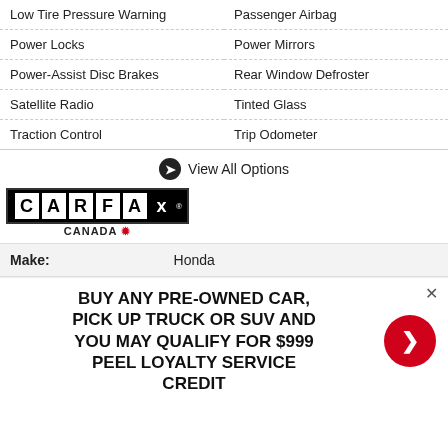| Feature | Feature |
| --- | --- |
| Low Tire Pressure Warning | Passenger Airbag |
| Power Locks | Power Mirrors |
| Power-Assist Disc Brakes | Rear Window Defroster |
| Satellite Radio | Tinted Glass |
| Traction Control | Trip Odometer |
View All Options
[Figure (logo): CARFAX Canada logo]
| Make: | Honda |
| --- | --- |
BUY ANY PRE-OWNED CAR, PICK UP TRUCK OR SUV AND YOU MAY QUALIFY FOR $999 PEEL LOYALTY SERVICE CREDIT